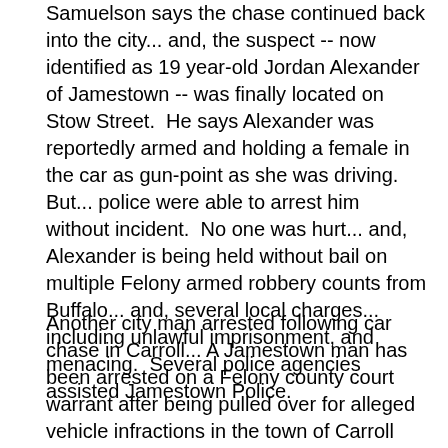Samuelson says the chase continued back into the city... and, the suspect -- now identified as 19 year-old Jordan Alexander of Jamestown -- was finally located on Stow Street.  He says Alexander was reportedly armed and holding a female in the car as gun-point as she was driving.  But... police were able to arrest him without incident.  No one was hurt... and, Alexander is being held without bail on multiple Felony armed robbery counts from Buffalo... and, several local charges... including unlawful imprisonment, and menacing.  Several police agencies assisted Jamestown Police.
Another city man arrested following car chase in Carroll...  A Jamestown man has been arrested on a Felony county court warrant after being pulled over for alleged vehicle infractions in the town of Carroll early last Friday morning.  Sheriff's officers say they pulled over 37 year-old Brian Wilson of Lafayette Street...